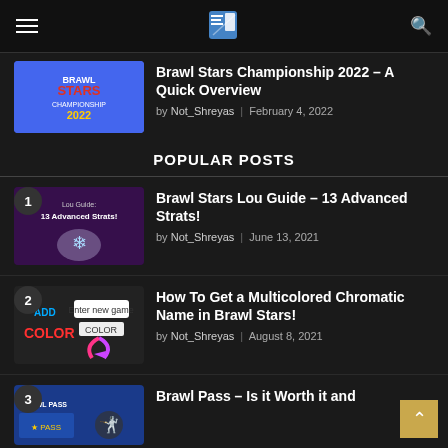Website header with hamburger menu, logo, and search icon
[Figure (screenshot): Brawl Stars Championship 2022 article thumbnail]
Brawl Stars Championship 2022 – A Quick Overview
by Not_Shreyas | February 4, 2022
POPULAR POSTS
[Figure (screenshot): Lou Guide: 13 Advanced Strats! thumbnail with number 1]
Brawl Stars Lou Guide – 13 Advanced Strats!
by Not_Shreyas | June 13, 2021
[Figure (screenshot): Add Color thumbnail with number 2]
How To Get a Multicolored Chromatic Name in Brawl Stars!
by Not_Shreyas | August 8, 2021
[Figure (screenshot): Brawl Pass thumbnail with number 3]
Brawl Pass – Is it Worth it and